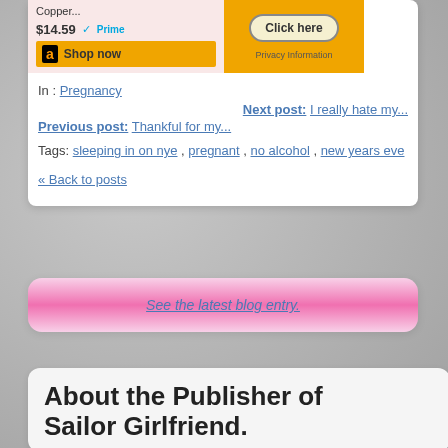[Figure (screenshot): Amazon product ad showing price $14.59 with Prime badge and Shop now button, alongside an orange Click here button with Privacy Information text]
In : Pregnancy
Next post: I really hate my...
Previous post: Thankful for my...
Tags: sleeping in on nye , pregnant , no alcohol , new years eve
« Back to posts
See the latest blog entry.
About the Publisher of Sailor Girlfriend.